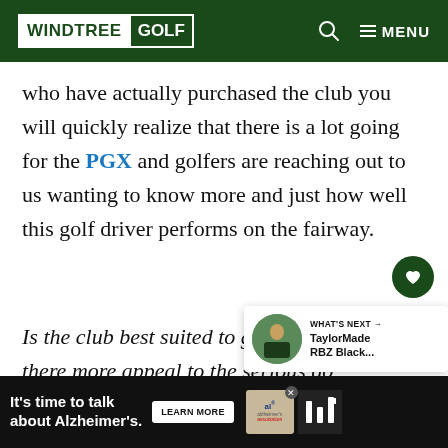WINDTREE GOLF
who have actually purchased the club you will quickly realize that there is a lot going for the PGX and golfers are reaching out to us wanting to know more and just how well this golf driver performs on the fairway.
Is the club best suited to golf beginners? or is there more appeal to the serious golfer and the Pinemeadow brand?
[Figure (other): What's Next card showing TaylorMade RBZ Black with thumbnail image]
[Figure (other): Advertisement banner: It's time to talk about Alzheimer's. with Learn More button and Alzheimer's Association logo]